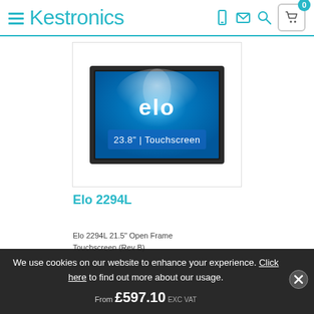Kestronics
[Figure (photo): Elo 23.8 inch touchscreen monitor product image on white background]
Elo 2294L
Elo 2294L 21.5" Open Frame Touchscreen (Rev B)
From £597.10 EXC VAT
We use cookies on our website to enhance your experience. Click here to find out more about our usage.